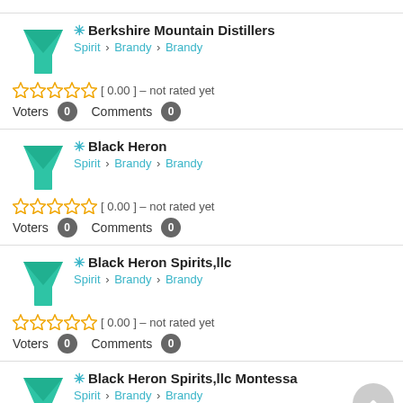Berkshire Mountain Distillers — Spirit > Brandy > Brandy — [0.00] not rated yet — Voters 0 Comments 0
Black Heron — Spirit > Brandy > Brandy — [0.00] not rated yet — Voters 0 Comments 0
Black Heron Spirits,llc — Spirit > Brandy > Brandy — [0.00] not rated yet — Voters 0 Comments 0
Black Heron Spirits,llc Montessa — Spirit > Brandy > Brandy